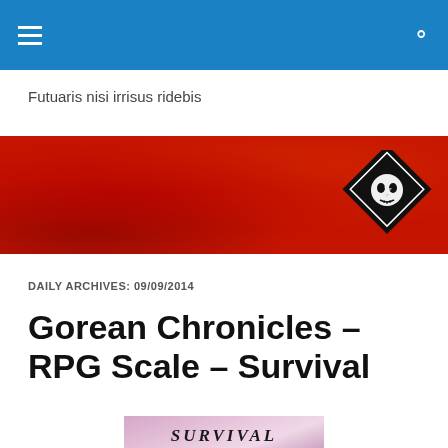Navigation bar with hamburger menu and search icon
Futuaris nisi irrisus ridebis
[Figure (illustration): Red textured banner with a diamond-shaped skull logo on the right side]
DAILY ARCHIVES: 09/09/2014
Gorean Chronicles – RPG Scale – Survival
[Figure (photo): Book cover image for Survival showing stylized title text on a pink/purple background]